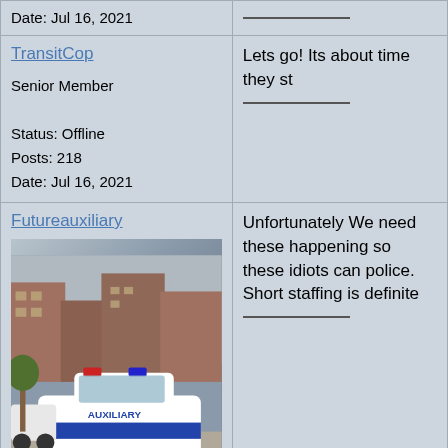| User Info | Post Content |
| --- | --- |
| Date: Jul 16, 2021 | _______________ |
| TransitCop

Senior Member

Status: Offline
Posts: 218
Date: Jul 16, 2021 | Lets go! Its about time they st…
_______________ |
| Futureauxiliary
[photo of police car]
Guru

Status: Offline
Posts: 543 | Unfortunately We need these happening so these idiots can police. Short staffing is definite…
_______________ |